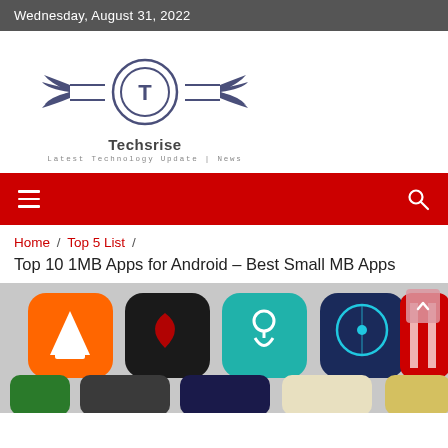Wednesday, August 31, 2022
[Figure (logo): Techsrise logo — a circle with 'T' flanked by wing shapes, with text 'Techsrise' and tagline 'Latest Technology Update | News']
Techsrise
Latest Technology Update | News
Home / Top 5 List /
Top 10 1MB Apps for Android – Best Small MB Apps
[Figure (screenshot): Collage of colorful Android app icons on a light background — includes VLC, and various other app icons in teal, orange, dark, and blue tones.]